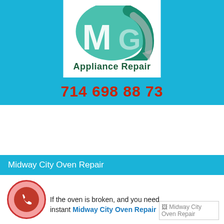[Figure (logo): MG Appliance Repair logo with teal arrow/shield graphic and bold green text 'Appliance Repair' below, on white background inside cyan banner]
714 698 88 73
Midway City Oven Repair
[Figure (illustration): Red phone call icon in a pink/red circle with red border]
If the oven is broken, and you need instant Midway City Oven Repair
[Figure (photo): Broken/missing image placeholder labeled 'Midway City Oven Repair']